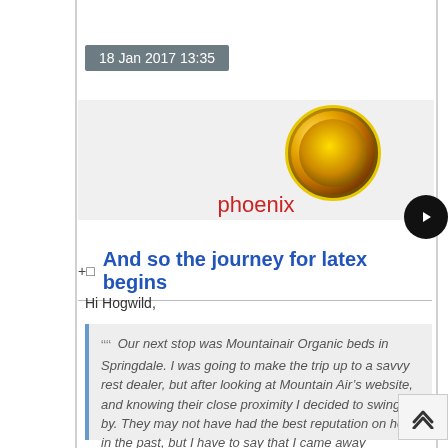18 Jan 2017 13:35
[Figure (photo): Circular avatar image showing a sunflower or yellow flower, used as user profile picture for 'phoenix']
phoenix
+□ And so the journey for latex begins
Hi Hogwild,
“”  Our next stop was Mountainair Organic beds in Springdale. I was going to make the trip up to a savvy rest dealer, but after looking at Mountain Air’s website, and knowing their close proximity I decided to swing by. They may not have had the best reputation on here in the past, but I have to say that I came away impressed with their products and owners.  ””